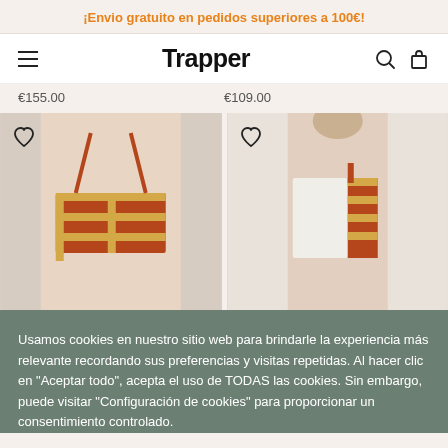¡Envio gratuito en pedidos superiores a 100€!
[Figure (screenshot): Trapper brand navigation bar with hamburger menu, logo, search and bag icons]
€155.00    €109.00
[Figure (photo): Two product photos: left shows a woman wearing a striped bikini top, right shows a woman wearing a one-shoulder swimsuit with striped detail]
Usamos cookies en nuestro sitio web para brindarle la experiencia más relevante recordando sus preferencias y visitas repetidas. Al hacer clic en "Aceptar todo", acepta el uso de TODAS las cookies. Sin embargo, puede visitar "Configuración de cookies" para proporcionar un consentimiento controlado.
Ajustes    Aceptar todo